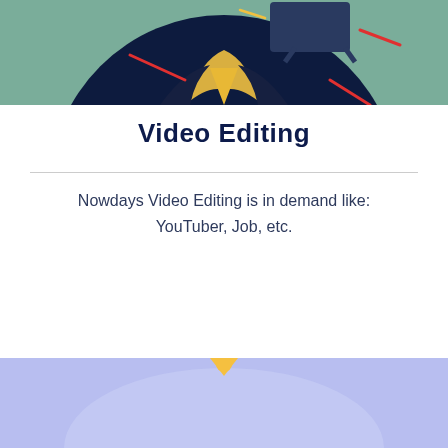[Figure (illustration): Illustration of a person in dark suit with yellow tie against a dark circular background with teal outer background, red accent lines — video editing themed graphic, top portion cropped]
Video Editing
Nowdays Video Editing is in demand like: YouTuber, Job, etc.
[Figure (illustration): Partial illustration with light purple/lavender background showing a small yellow figure or icon, bottom of page cropped]